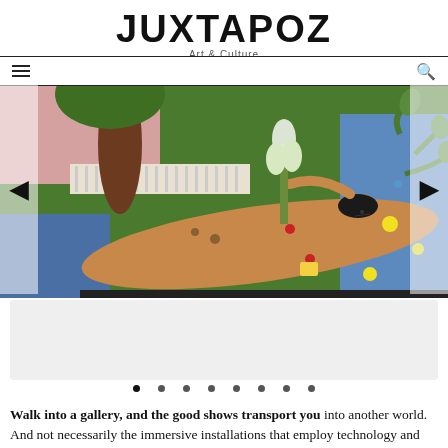JUXTAPOZ
Art & Culture
[Figure (illustration): Colorful painting of a reclining nude figure in a lush garden scene with green foliage, flowers, tree trunks, and decorative elements in folk-art style]
Walk into a gallery, and the good shows transport you into another world. And not necessarily the immersive installations that employ technology and trickery to prepossess, or an artist who wields massive scale to surround and ensnare you. No, we are talking about a good story, a narrative the artist has created just as riveting as